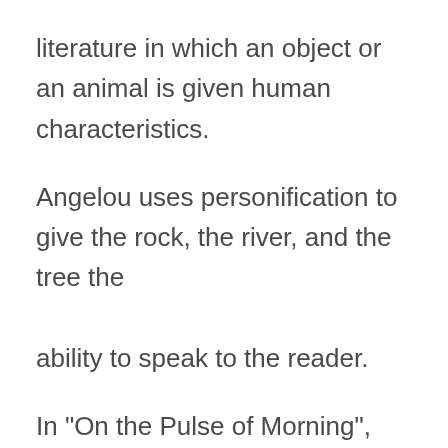literature in which an object or an animal is given human characteristics.
Angelou uses personification to give the rock, the river, and the tree the ability to speak to the reader.
In "On the Pulse of Morning", Angelou writes " But today, the rock cries out to us, clearly, forcefully, Come, you may stand upon my back and face your